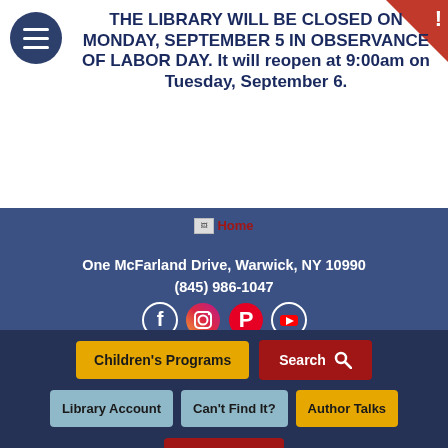THE LIBRARY WILL BE CLOSED ON MONDAY, SEPTEMBER 5 IN OBSERVANCE OF LABOR DAY.  It will reopen at 9:00am on Tuesday, September 6.
[Figure (other): Home logo/image with broken image icon and 'Home' text link in red]
One McFarland Drive, Warwick, NY 10990
(845) 986-1047
[Figure (other): Social media icons row: Facebook, Instagram, Pinterest, YouTube — circular icon buttons]
Children's Programs
Search
Library Account
Can't Find It?
Author Talks
Donate